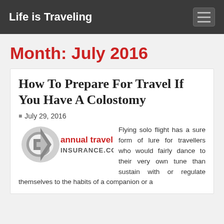Life is Traveling
Month: July 2016
How To Prepare For Travel If You Have A Colostomy
July 29, 2016
[Figure (logo): Annual Travel Insurance.com logo with stylized G arrow graphic in grey and red text]
Flying solo flight has a sure form of lure for travellers who would fairly dance to their very own tune than sustain with or regulate themselves to the habits of a companion or a